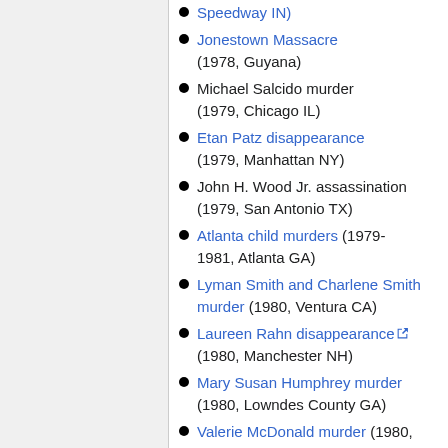Speedway IN)
Jonestown Massacre (1978, Guyana)
Michael Salcido murder (1979, Chicago IL)
Etan Patz disappearance (1979, Manhattan NY)
John H. Wood Jr. assassination (1979, San Antonio TX)
Atlanta child murders (1979-1981, Atlanta GA)
Lyman Smith and Charlene Smith murder (1980, Ventura CA)
Laureen Rahn disappearance [external link] (1980, Manchester NH)
Mary Susan Humphrey murder (1980, Lowndes County GA)
Valerie McDonald murder (1980, San Francisco CA)